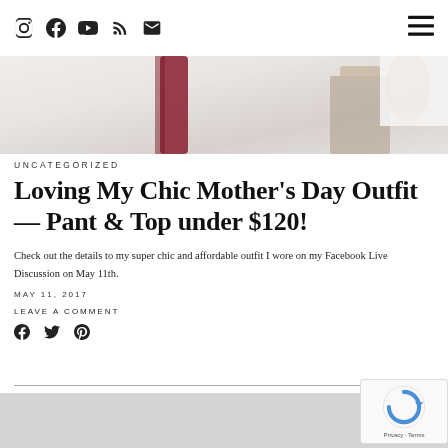Social media icons (Instagram, Facebook, YouTube, RSS, Email) and hamburger menu
[Figure (photo): Hero image showing a close-up of a surface with a reddish/pink object and a wooden/metal element, light and airy background]
UNCATEGORIZED
Loving My Chic Mother's Day Outfit — Pant & Top under $120!
Check out the details to my super chic and affordable outfit I wore on my Facebook Live Discussion on May 11th.
MAY 11, 2017
LEAVE A COMMENT
[Figure (other): Social share icons: Facebook, Twitter, Pinterest]
[Figure (photo): Bottom partial image with light grey background, article content below fold]
[Figure (other): reCAPTCHA badge with logo and Privacy - Terms text]